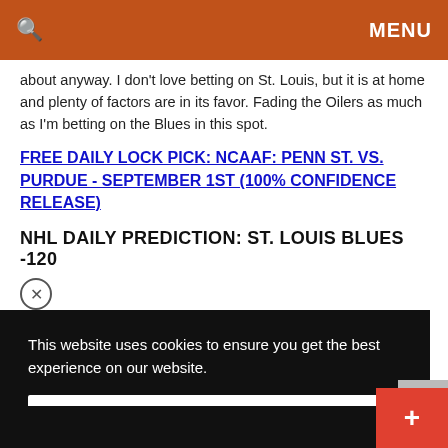🔍   MENU
about anyway. I don't love betting on St. Louis, but it is at home and plenty of factors are in its favor. Fading the Oilers as much as I'm betting on the Blues in this spot.
FREE DAILY LOCK PICK: NCAAF: PENN ST. VS. PURDUE - SEPTEMBER 1ST (100% CONFIDENCE RELEASE)
NHL DAILY PREDICTION: ST. LOUIS BLUES -120
[Figure (screenshot): Partial screenshot of a webpage with a blue banner image visible]
This website uses cookies to ensure you get the best experience on our website.
Got it!